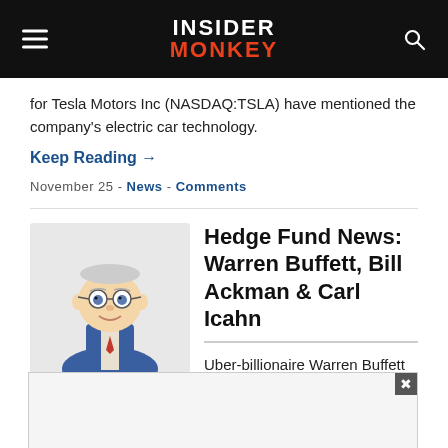INSIDER MONKEY
for Tesla Motors Inc (NASDAQ:TSLA) have mentioned the company's electric car technology.
Keep Reading →
November 25 - News - Comments
[Figure (illustration): Cartoon illustration of Warren Buffett as a caricature, elderly man with glasses]
Hedge Fund News: Warren Buffett, Bill Ackman & Carl Icahn
Uber-billionaire Warren Buffett hosted the annual shareholders meeting for Berkshire Hathaway Inc. (NYSE:BRK.B) in Omaha last
[Figure (other): Advertisement overlay box with close button (x)]